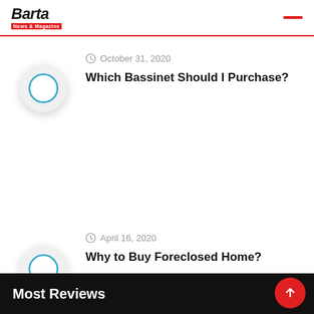Barta News & Magazine
October 31, 2020
Which Bassinet Should I Purchase?
[Figure (illustration): Circular thumbnail placeholder with blue ring outline on light grey background with drop shadow]
April 16, 2020
Why to Buy Foreclosed Home?
[Figure (illustration): Circular thumbnail placeholder with blue ring outline on light grey background with drop shadow]
Most Reviews